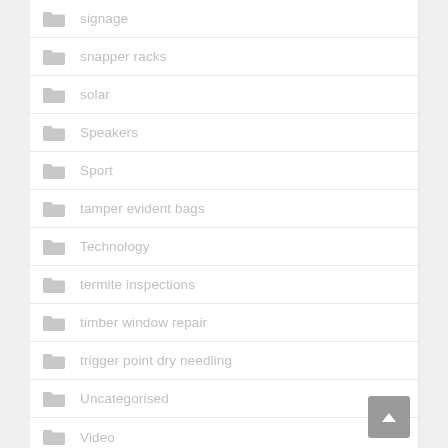signage
snapper racks
solar
Speakers
Sport
tamper evident bags
Technology
termite inspections
timber window repair
trigger point dry needling
Uncategorised
Video